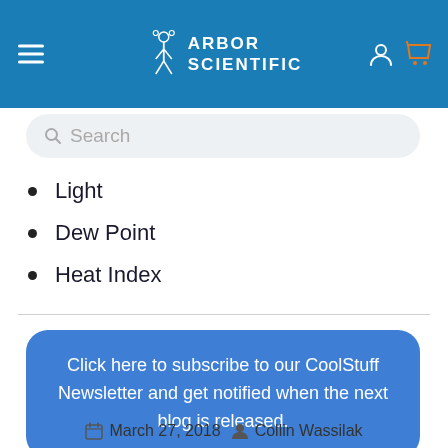Arbor Scientific
Light
Dew Point
Heat Index
Click here to subscribe to our CoolStuff Newsletter and get notified when the next blog is released.
March 27, 2018  Collin Wassilak